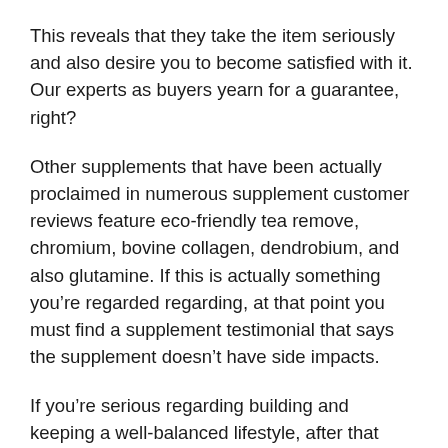This reveals that they take the item seriously and also desire you to become satisfied with it. Our experts as buyers yearn for a guarantee, right?
Other supplements that have been actually proclaimed in numerous supplement customer reviews feature eco-friendly tea remove, chromium, bovine collagen, dendrobium, and also glutamine. If this is actually something you’re regarded regarding, at that point you must find a supplement testimonial that says the supplement doesn’t have side impacts.
If you’re serious regarding building and keeping a well-balanced lifestyle, after that you’ll perhaps decide on to muscle building supplement testimonials that chat about the advantages. Supplement assessments offer our team a much better suggestion about what we should be